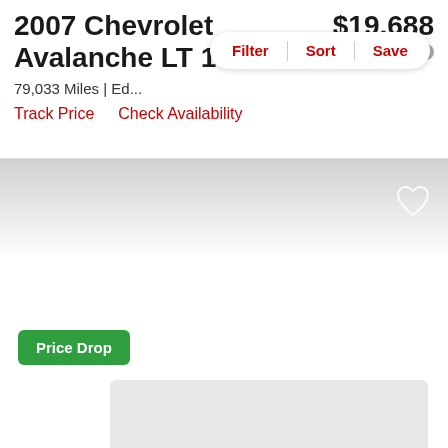2007 Chevrolet Avalanche LT 1500
$19,688
est. $284/mo
79,033 Miles | Ed...
Filter  Sort  Save
Track Price   Check Availability
[Figure (other): Heart/favorite icon (outline) on gray gradient background area]
Price Drop
[Figure (other): Gray rounded rectangle card at the bottom of the page (partial vehicle listing card)]